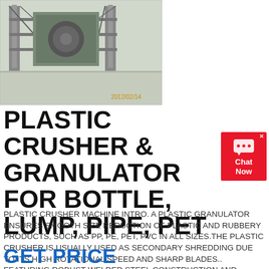[Figure (photo): Industrial plastic crusher/granulator machine at a facility, photographed outdoors. Timestamp shown: 2012/02/14]
PLASTIC CRUSHER & GRANULATOR FOR BOTTLE, LUMP, PIPE, PET
[Figure (other): Chat Now button widget - red background with chat bubble icon]
PLASTIC CRUSHER MACHINE INTRO. A PLASTIC GRANULATOR ENSURES SMOOTH SIZE REDUCTION OF PLASTIC AND RUBBERY PRODUCTS, SUCH AS PP, PE, PET, PVC IN ALL SIZES.THE PLASTIC CRUSHER IS USUALLY USED AS SECONDARY SHREDDING DUE TO ITS HIGH ROTATIONAL SPEED AND SHARP BLADES.. FEATURING ROBUST WELDED STEEL CONSTRUCTION AND STABLE OPERATION, BUT DURING CRUSHING, METAL AND SIMILAR HARD FOREIGN OBJECTS ARE NOT
GET PRICE